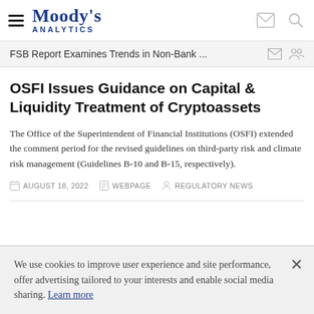Moody's Analytics
FSB Report Examines Trends in Non-Bank ...
OSFI Issues Guidance on Capital & Liquidity Treatment of Cryptoassets
The Office of the Superintendent of Financial Institutions (OSFI) extended the comment period for the revised guidelines on third-party risk and climate risk management (Guidelines B-10 and B-15, respectively).
AUGUST 18, 2022   WEBPAGE   REGULATORY NEWS
We use cookies to improve user experience and site performance, offer advertising tailored to your interests and enable social media sharing. Learn more